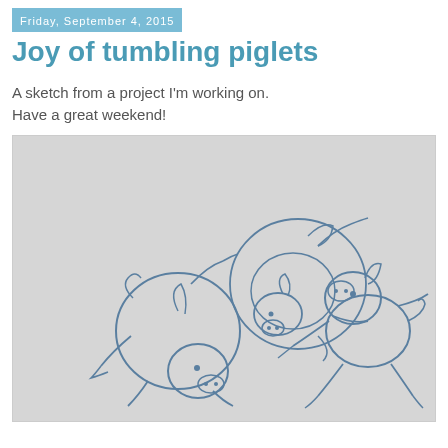Friday, September 4, 2015
Joy of tumbling piglets
A sketch from a project I'm working on.
Have a great weekend!
[Figure (illustration): Pencil sketch of three tumbling piglets in various playful poses on a light gray background. Left piglet is curled in a ball tumbling forward, middle piglet is curled in a circle on its back, and right piglet is shown leaping with legs outstretched. Drawn in blue pencil/pen outline style.]